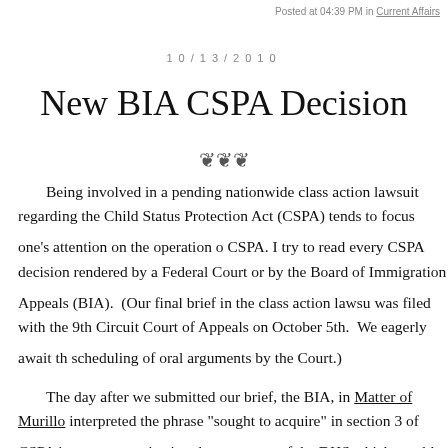Posted at 04:39 PM in Current Affairs
10/13/2010
New BIA CSPA Decision
Being involved in a pending nationwide class action lawsuit regarding the Child Status Protection Act (CSPA) tends to focus one's attention on the operation of CSPA. I try to read every CSPA decision rendered by a Federal Court or by the Board of Immigration Appeals (BIA). (Our final brief in the class action lawsuit was filed with the 9th Circuit Court of Appeals on October 5th. We eagerly await the scheduling of oral arguments by the Court.)
The day after we submitted our brief, the BIA, in Matter of Murillo interpreted the phrase "sought to acquire" in section 3 of CSPA in an expansive way, rejecting the argument of the DHS which would have resulted in Mr. M being removed from the United States and separated from his parents for ma